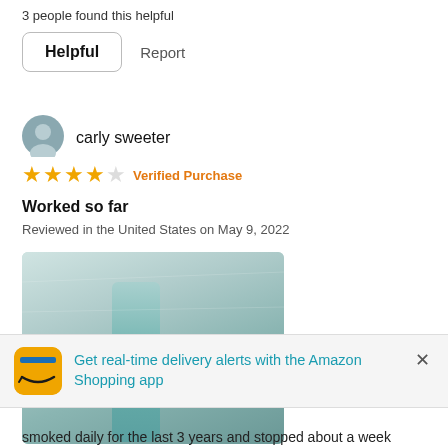3 people found this helpful
Helpful
Report
carly sweeter
★★★★☆ Verified Purchase
Worked so far
Reviewed in the United States on May 9, 2022
[Figure (photo): Photo of a rapid test strip (COVID/drug test) showing a positive C line result, placed on a gray surface. The test strip has a teal/green color.]
Get real-time delivery alerts with the Amazon Shopping app
smoked daily for the last 3 years and stopped about a week